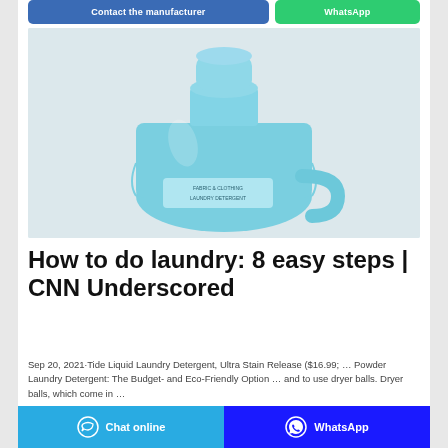Contact the manufacturer | WhatsApp
[Figure (photo): Blue laundry detergent bottle (jug with handle and cap) photographed against a light pinkish-white background.]
How to do laundry: 8 easy steps | CNN Underscored
Sep 20, 2021·Tide Liquid Laundry Detergent, Ultra Stain Release ($16.99; … Powder Laundry Detergent: The Budget- and Eco-Friendly Option … and to use dryer balls. Dryer balls, which come in …
Chat online | WhatsApp